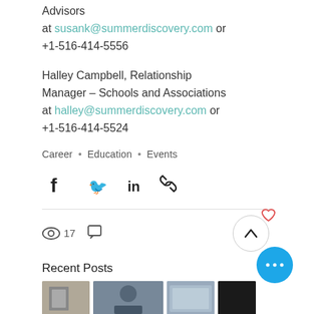Advisors at susank@summerdiscovery.com or +1-516-414-5556
Halley Campbell, Relationship Manager – Schools and Associations at halley@summerdiscovery.com or +1-516-414-5524
Career • Education • Events
[Figure (other): Social share icons: Facebook, Twitter, LinkedIn, Link]
17 views, comment icon
[Figure (other): Scroll-to-top button (circle with up chevron) and heart (like) icon]
Recent Posts
[Figure (other): Row of thumbnail images for recent posts]
[Figure (other): Blue circular button with three dots (more options)]